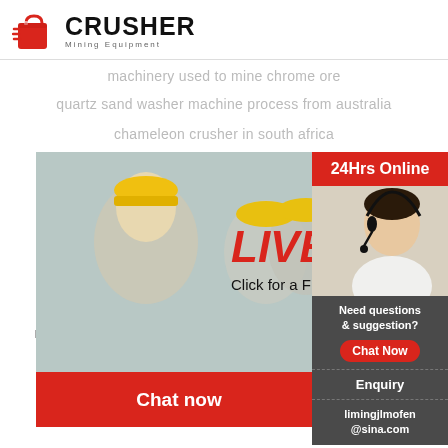[Figure (logo): Crusher Mining Equipment logo with red shopping bag icon and bold CRUSHER text]
machinery used to mine chrome ore
quartz sand washer machine process from australia
chameleon crusher in south africa
[Figure (screenshot): Live Chat popup widget with workers in hard hats, LIVE CHAT heading, Click for a Free Consultation text, Chat now and Chat later buttons, and a customer service agent on the right side]
good quality coal kiln price
manganese ore beneficiation plant in i...
simple stone crushing machine imag...
the weight of mining equipment
24Hrs Online
Need questions & suggestion?
Chat Now
Enquiry
limingjlmofen@sina.com